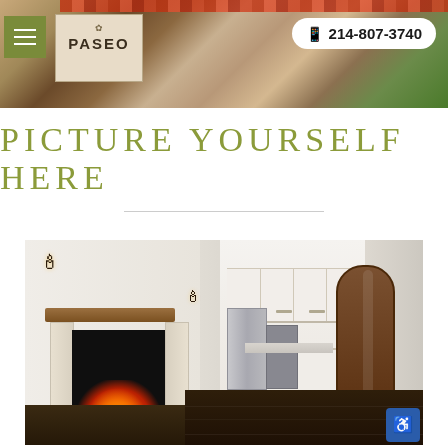PASEO — 214-807-3740 (navigation header with property photo)
PICTURE YOURSELF HERE
[Figure (photo): Interior photo of a luxury home showing a living room with a lit fireplace, wooden ceiling beams, wall sconces, open kitchen with white cabinetry and stainless steel appliances, dark hardwood floors, and an arched wooden door.]